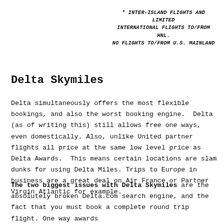* Inter-Island Flights and limited International Flights To/From HNL. No Flights To/From U.S. Mainland
Delta Skymiles
Delta simultaneously offers the most flexible bookings, and also the worst booking engine.  Delta (as of writing this) still allows free one ways, even domestically. Also, unlike United partner flights all price at the same low level price as Delta Awards.  This means certain locations are slam dunks for using Delta Miles. Trips to Europe in business are a great deal on Air France or Partner Virgin Atlantic for example.
The two biggest issues with Delta Skymiles are the absolutely broken Delta.com search engine, and the fact that you must book a complete round trip flight. One way awards